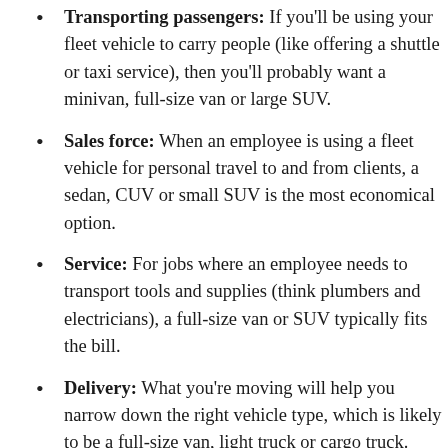Transporting passengers: If you'll be using your fleet vehicle to carry people (like offering a shuttle or taxi service), then you'll probably want a minivan, full-size van or large SUV.
Sales force: When an employee is using a fleet vehicle for personal travel to and from clients, a sedan, CUV or small SUV is the most economical option.
Service: For jobs where an employee needs to transport tools and supplies (think plumbers and electricians), a full-size van or SUV typically fits the bill.
Delivery: What you're moving will help you narrow down the right vehicle type, which is likely to be a full-size van, light truck or cargo truck.
Specialized service: If your work requires the